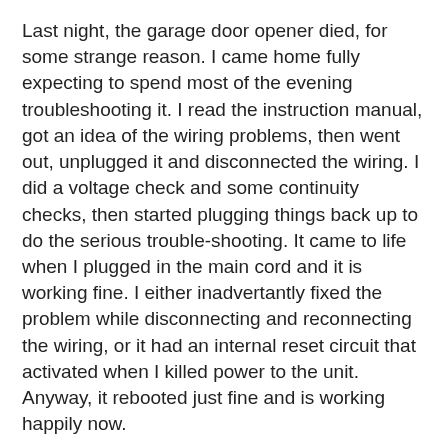Last night, the garage door opener died, for some strange reason. I came home fully expecting to spend most of the evening troubleshooting it. I read the instruction manual, got an idea of the wiring problems, then went out, unplugged it and disconnected the wiring. I did a voltage check and some continuity checks, then started plugging things back up to do the serious trouble-shooting. It came to life when I plugged in the main cord and it is working fine. I either inadvertantly fixed the problem while disconnecting and reconnecting the wiring, or it had an internal reset circuit that activated when I killed power to the unit. Anyway, it rebooted just fine and is working happily now.
Milady is working this evening, and that is the reason I am at loose ends. Were she home, I'd be sitting on the couch harassing her. As it is, I am without adult supervision.
Turkish mausers are a really good deal if someone is in the market for a beater rifle. They are mainly chambered for the 8mm Mauser round, which launches a 200 grain bullet at 2500 fps. That ought to be sufficient for just about anything on the North American continent. Those rifles are running in